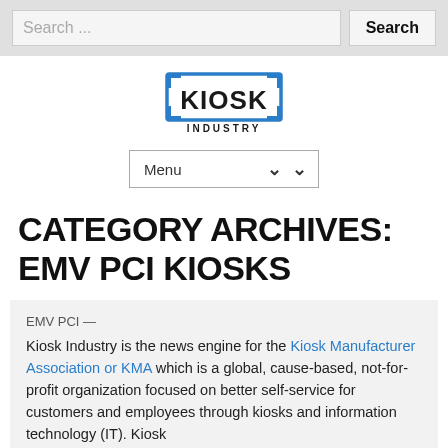Search ...  Search
[Figure (logo): Kiosk Industry logo — stylized 'KIOSK' text inside a rectangular bracket frame, with 'INDUSTRY' below]
Menu
CATEGORY ARCHIVES: EMV PCI KIOSKS
EMV PCI —
Kiosk Industry is the news engine for the Kiosk Manufacturer Association or KMA which is a global, cause-based, not-for-profit organization focused on better self-service for customers and employees through kiosks and information technology (IT). Kiosk